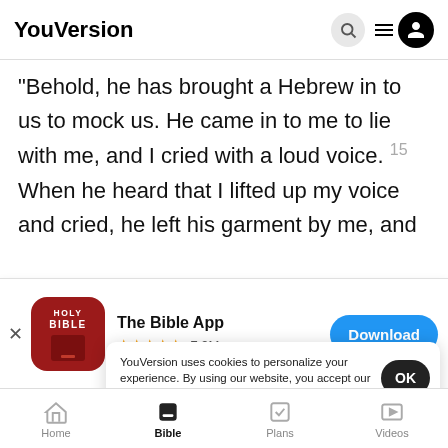YouVersion
“Behold, he has brought a Hebrew in to us to mock us. He came in to me to lie with me, and I cried with a loud voice. 15 When he heard that I lifted up my voice and cried, he left his garment by me, and
[Figure (screenshot): App store banner for 'The Bible App' with Holy Bible icon, 5-star rating, 7.9M reviews, and Download button]
a…ding to these words, saying, “The Hebr…
servant
me to mock me,… and as I lifted up my voice and
YouVersion uses cookies to personalize your experience. By using our website, you accept our use of cookies as described in our Privacy Policy.
Home  Bible  Plans  Videos